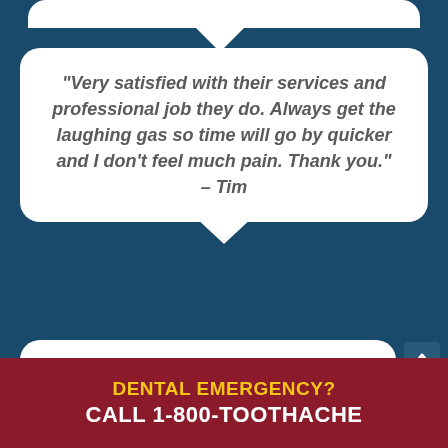“Very satisfied with their services and professional job they do. Always get the laughing gas so time will go by quicker and I don’t feel much pain. Thank you.” – Tim
“Today I went to afdent emergency
DENTAL EMERGENCY? CALL 1-800-TOOTHACHE